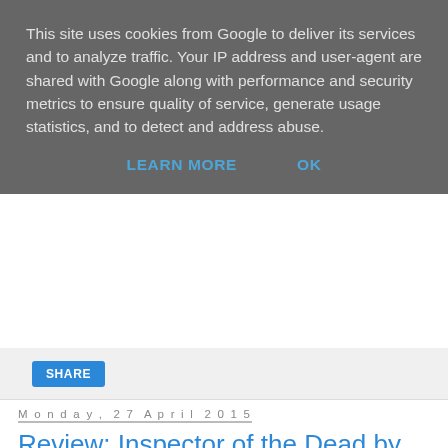This site uses cookies from Google to deliver its services and to analyze traffic. Your IP address and user-agent are shared with Google along with performance and security metrics to ensure quality of service, generate usage statistics, and to detect and address abuse.
LEARN MORE   OK
SHARE
Monday, 27 April 2015
Review: Inspector of the Dead by David Morrell
[Figure (photo): Book cover of 'Inspector of the Dead' showing the word INSPECTOR in large white letters and a figure from behind, with a greenish-brown tinted cover. A blurb at the top reads in small italic text.]